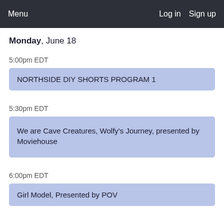Menu   Log in   Sign up
Monday, June 18
5:00pm EDT
NORTHSIDE DIY SHORTS PROGRAM 1
5:30pm EDT
We are Cave Creatures, Wolfy's Journey, presented by Moviehouse
6:00pm EDT
Girl Model, Presented by POV